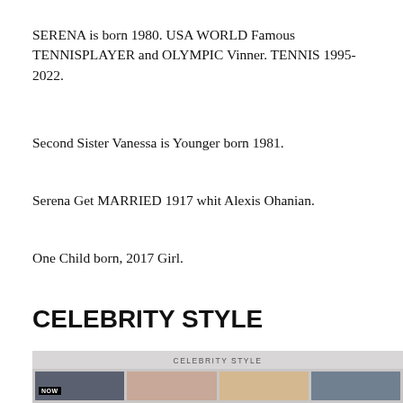SERENA is born 1980. USA WORLD Famous TENNISPLAYER and OLYMPIC Vinner. TENNIS 1995-2022.
Second Sister Vanessa is Younger born 1981.
Serena Get MARRIED 1917 whit Alexis Ohanian.
One Child born, 2017 Girl.
CELEBRITY STYLE
[Figure (photo): A photo collage grid labeled 'CELEBRITY STYLE' at the top, showing four celebrity photos in a row.]